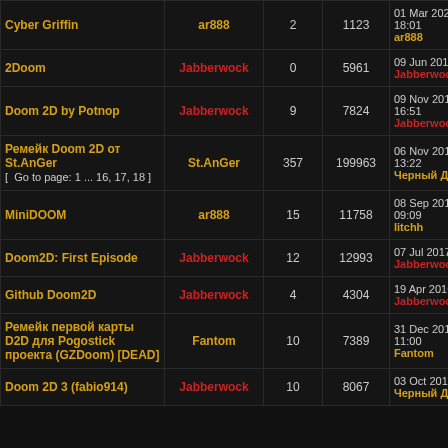| Topic | Author | Replies | Views | Last Post |
| --- | --- | --- | --- | --- |
| Cyber Griffin | ar888 | 2 | 1123 | 01 Mar 2021, 18:0X
ar888 |
| 2Doom | Jabberwock | 0 | 5961 | 09 Jun 2019, 23:05
Jabberwock |
| Doom 2D by Potnop | Jabberwock | 9 | 7824 | 09 Nov 2018, 16:51
Jabberwock |
| Ремейк Doom 2D от St.AnGer [ Go to page: 1 ... 16, 17, 18 ] | St.AnGer | 357 | 199963 | 06 Nov 2018, 13:22
Черный Думер |
| MiniDOOM | ar888 | 15 | 11758 | 08 Sep 2018, 09:09
litchh |
| Doom2D: First Episode | Jabberwock | 12 | 12993 | 07 Jul 2017, 20:31
Jabberwock |
| Github Doom2D | Jabberwock | 4 | 4304 | 19 Apr 2016, 05:22
Jabberwock |
| Ремейк первой карты D2D для Pogostick проекта (GZDoom) [DEAD] | Fantom | 10 | 7389 | 31 Dec 2015, 11:00
Fantom |
| Doom 2D 3 (fabio914) | Jabberwock | 10 | 8067 | 03 Oct 2015, 14:56
Черный Думер |